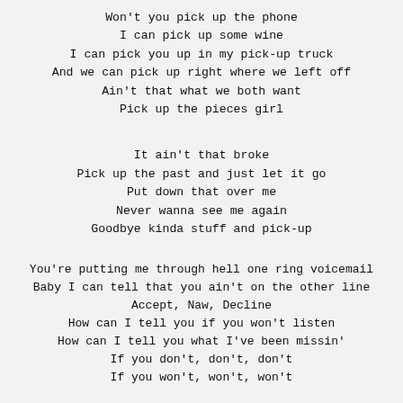Won't you pick up the phone
I can pick up some wine
I can pick you up in my pick-up truck
And we can pick up right where we left off
Ain't that what we both want
Pick up the pieces girl
It ain't that broke
Pick up the past and just let it go
Put down that over me
Never wanna see me again
Goodbye kinda stuff and pick-up
You're putting me through hell one ring voicemail
Baby I can tell that you ain't on the other line
Accept, Naw, Decline
How can I tell you if you won't listen
How can I tell you what I've been missin'
If you don't, don't, don't
If you won't, won't, won't
Won't you pick up the phone